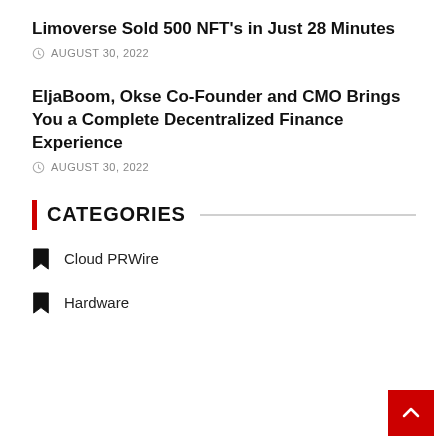Limoverse Sold 500 NFT's in Just 28 Minutes
AUGUST 30, 2022
EljaBoom, Okse Co-Founder and CMO Brings You a Complete Decentralized Finance Experience
AUGUST 30, 2022
CATEGORIES
Cloud PRWire
Hardware